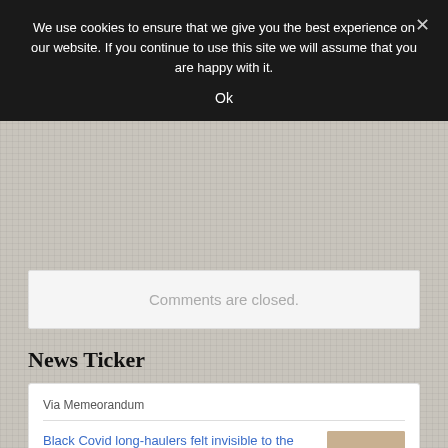We use cookies to ensure that we give you the best experience on our website. If you continue to use this site we will assume that you are happy with it.
Ok
Comments are closed.
News Ticker
Via Memeorandum
Black Covid long-haulers felt invisible to the health care system, so they formed their own support groups (NBC News)
Aug 28, 2022 10:15 AM